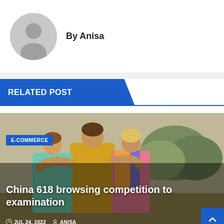[Figure (illustration): Author avatar placeholder - grey circle with silhouette of a person]
By Anisa
RELATED POST
[Figure (photo): Photo of group of people hugging, seen from behind. Person in yellow shirt in center being hugged by others in turquoise and pink/rainbow clothing. Trees visible in background.]
E-COMMERCE
China 618 browsing competition to examination
JUL 24, 2022  ANISA